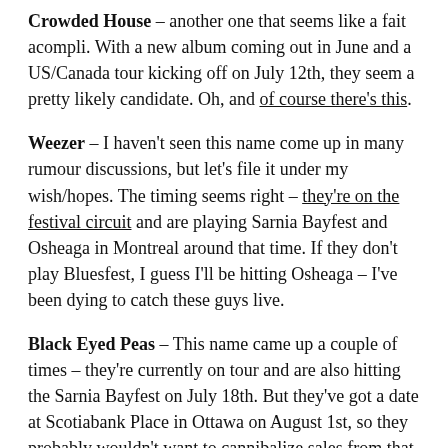Crowded House – another one that seems like a fait acompli. With a new album coming out in June and a US/Canada tour kicking off on July 12th, they seem a pretty likely candidate. Oh, and of course there's this.
Weezer – I haven't seen this name come up in many rumour discussions, but let's file it under my wish/hopes. The timing seems right – they're on the festival circuit and are playing Sarnia Bayfest and Osheaga in Montreal around that time. If they don't play Bluesfest, I guess I'll be hitting Osheaga – I've been dying to catch these guys live.
Black Eyed Peas – This name came up a couple of times – they're currently on tour and are also hitting the Sarnia Bayfest on July 18th. But they've got a date at Scotiabank Place in Ottawa on August 1st, so they probably wouldn't want to cannibalize sales from that show so soon after. Unlikely.